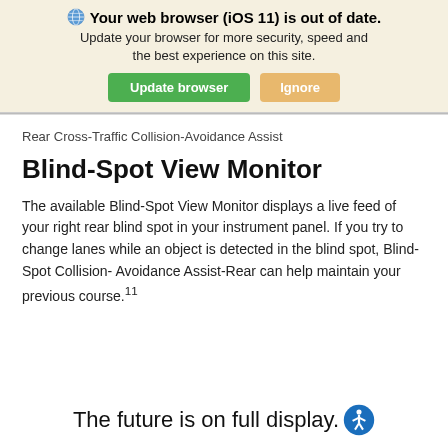[Figure (screenshot): Browser update banner with globe icon, bold title 'Your web browser (iOS 11) is out of date.', subtitle text, and two buttons: 'Update browser' (green) and 'Ignore' (tan/orange)]
Rear Cross-Traffic Collision-Avoidance Assist
Blind-Spot View Monitor
The available Blind-Spot View Monitor displays a live feed of your right rear blind spot in your instrument panel. If you try to change lanes while an object is detected in the blind spot, Blind-Spot Collision-Avoidance Assist-Rear can help maintain your previous course.11
The future is on full display.